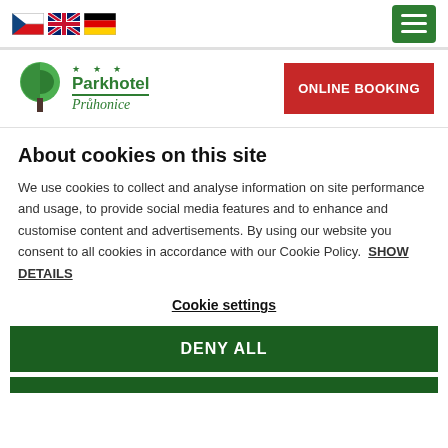[Figure (logo): Parkhotel Průhonice logo with green tree icon, stars, hotel name in green, and 'ONLINE BOOKING' red button]
About cookies on this site
We use cookies to collect and analyse information on site performance and usage, to provide social media features and to enhance and customise content and advertisements. By using our website you consent to all cookies in accordance with our Cookie Policy.  SHOW DETAILS
Cookie settings
DENY ALL